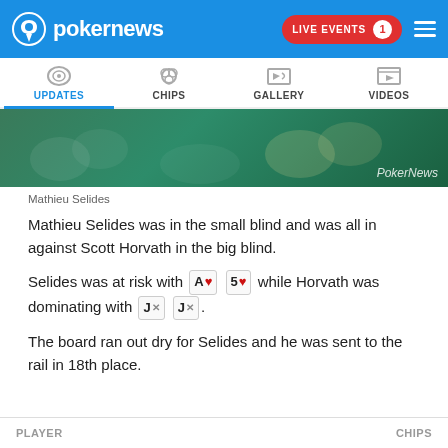pokernews | LIVE EVENTS 1
[Figure (screenshot): Navigation tabs: UPDATES (active, blue), CHIPS, GALLERY, VIDEOS with icons]
[Figure (photo): Photo strip showing poker chips on a green felt table with PokerNews watermark]
Mathieu Selides
Mathieu Selides was in the small blind and was all in against Scott Horvath in the big blind.
Selides was at risk with A♥ 5♥ while Horvath was dominating with J× J×.
The board ran out dry for Selides and he was sent to the rail in 18th place.
PLAYER    CHIPS